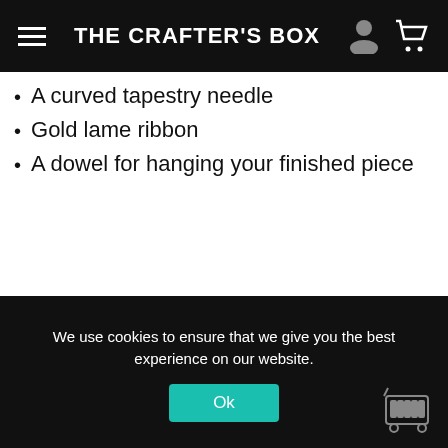THE CRAFTER'S BOX
A curved tapestry needle
Gold lame ribbon
A dowel for hanging your finished piece
We use cookies to ensure that we give you the best experience on our website.